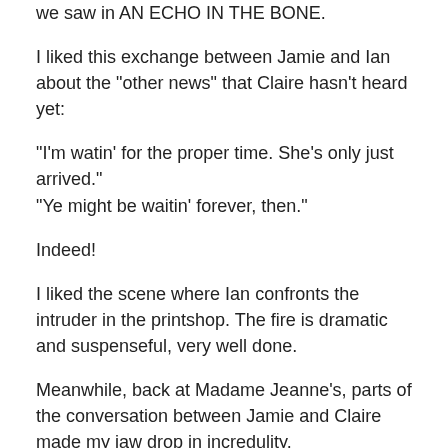we saw in AN ECHO IN THE BONE.
I liked this exchange between Jamie and Ian about the "other news" that Claire hasn't heard yet:
"I'm watin' for the proper time. She's only just arrived." "Ye might be waitin' forever, then."
Indeed!
I liked the scene where Ian confronts the intruder in the printshop. The fire is dramatic and suspenseful, very well done.
Meanwhile, back at Madame Jeanne's, parts of the conversation between Jamie and Claire made my jaw drop in incredulity.
"Jenny and Ian dinna ken what's best for the lad. I'm the only one teachin' him the ways of the world."